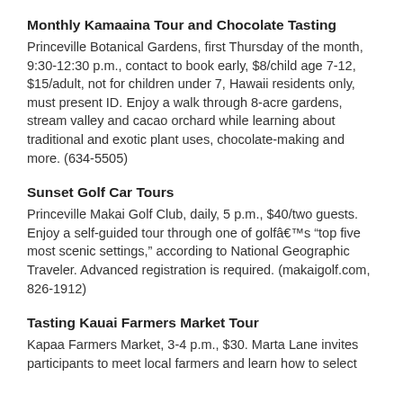Monthly Kamaaina Tour and Chocolate Tasting
Princeville Botanical Gardens, first Thursday of the month, 9:30-12:30 p.m., contact to book early, $8/child age 7-12, $15/adult, not for children under 7, Hawaii residents only, must present ID. Enjoy a walk through 8-acre gardens, stream valley and cacao orchard while learning about traditional and exotic plant uses, chocolate-making and more. (634-5505)
Sunset Golf Car Tours
Princeville Makai Golf Club, daily, 5 p.m., $40/two guests. Enjoy a self-guided tour through one of golfâs “top five most scenic settings,” according to National Geographic Traveler. Advanced registration is required. (makaigolf.com, 826-1912)
Tasting Kauai Farmers Market Tour
Kapaa Farmers Market, 3-4 p.m., $30. Marta Lane invites participants to meet local farmers and learn how to select